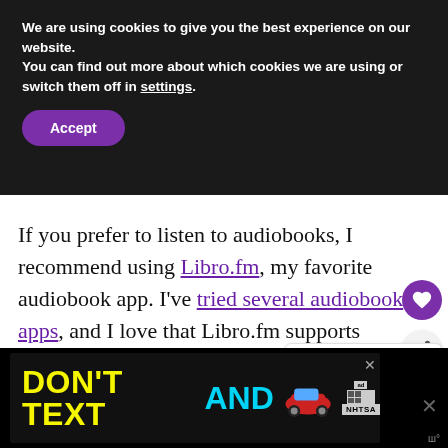We are using cookies to give you the best experience on our website.
You can find out more about which cookies we are using or switch them off in settings.
Accept
If you prefer to listen to audiobooks, I recommend using Libro.fm, my favorite audiobook app. I've tried several audiobook apps, and I love that Libro.fm supports independent bookstores and offers a great user experience.
[Figure (other): What's Next widget showing thumbnail and text '5 Kids Audiobooks...']
[Figure (other): Advertisement banner: DON'T TEXT AND [car image] NHTSA ad]